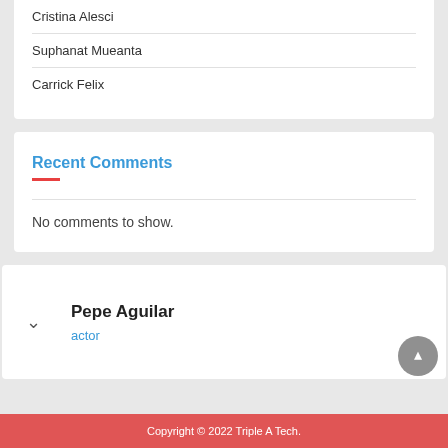Cristina Alesci
Suphanat Mueanta
Carrick Felix
Recent Comments
No comments to show.
Pepe Aguilar
actor
Copyright © 2022 Triple A Tech.